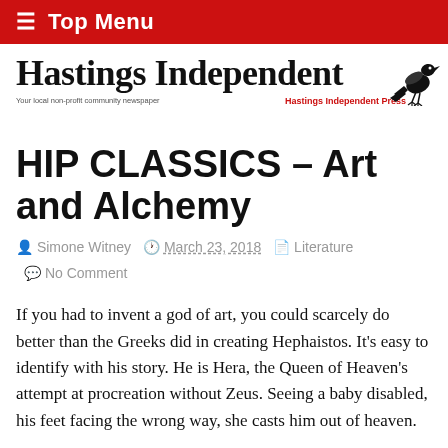≡ Top Menu
[Figure (logo): Hastings Independent newspaper logo with bird illustration, tagline 'Your local non-profit community newspaper' and 'Hastings Independent Press']
HIP CLASSICS – Art and Alchemy
Simone Witney  March 23, 2018  Literature  No Comment
If you had to invent a god of art, you could scarcely do better than the Greeks did in creating Hephaistos. It's easy to identify with his story. He is Hera, the Queen of Heaven's attempt at procreation without Zeus. Seeing a baby disabled, his feet facing the wrong way, she casts him out of heaven.